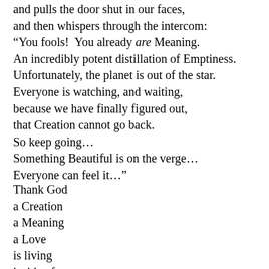and pulls the door shut in our faces,
and then whispers through the intercom:
"You fools!  You already are Meaning.
An incredibly potent distillation of Emptiness.
Unfortunately, the planet is out of the star.
Everyone is watching, and waiting,
because we have finally figured out,
that Creation cannot go back.
So keep going...
Something Beautiful is on the verge...
Everyone can feel it..."
Thank God
a Creation
a Meaning
a Love
is living
inside of us
that...